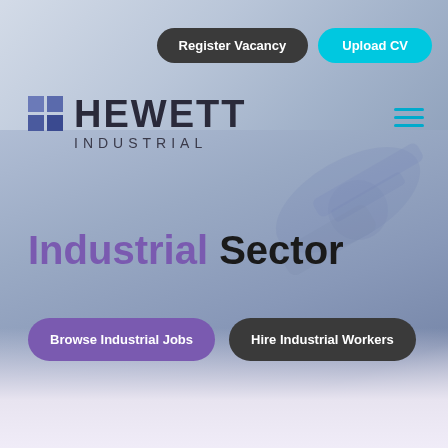[Figure (screenshot): Hewett Industrial recruitment website screenshot showing header with Register Vacancy and Upload CV buttons, company logo, hamburger menu, Industrial Sector hero heading, and Browse Industrial Jobs and Hire Industrial Workers CTA buttons over an industrial background image]
Register Vacancy
Upload CV
HEWETT INDUSTRIAL
Industrial Sector
Browse Industrial Jobs
Hire Industrial Workers